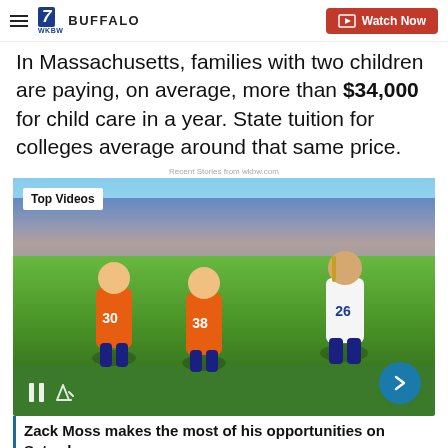WKBW BUFFALO | Watch Now
In Massachusetts, families with two children are paying, on average, more than $34,000 for child care in a year. State tuition for colleges average around that same price.
Recent Stories from wkbw.com
[Figure (screenshot): Video player showing a Buffalo Bills football game. A Bills player in white uniform runs with the ball while Denver Broncos players in orange uniforms defend. A crowd fills the stands in the background. Overlay shows 'Top Videos' badge, pause and mute controls, and a next-arrow button.]
Zack Moss makes the most of his opportunities on Saturday